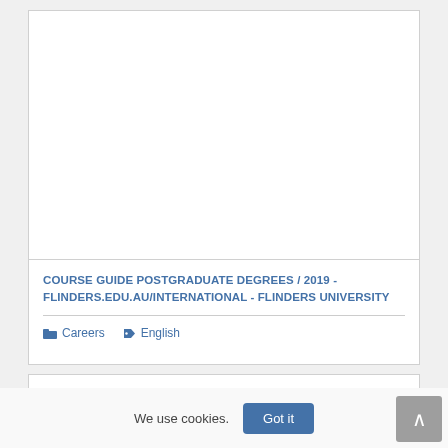[Figure (photo): White/blank image area at top of card representing a course guide cover image]
COURSE GUIDE POSTGRADUATE DEGREES / 2019 - FLINDERS.EDU.AU/INTERNATIONAL - FLINDERS UNIVERSITY
Careers   English
[Figure (photo): Partial second card visible at bottom of page]
We use cookies.
Got it